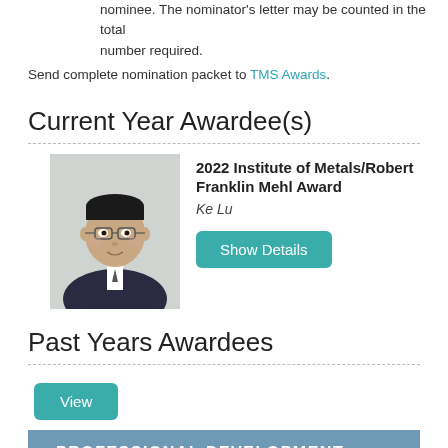nominee. The nominator's letter may be counted in the total number required.
Send complete nomination packet to TMS Awards.
Current Year Awardee(s)
[Figure (photo): Headshot photo of Ke Lu, a man wearing glasses and a suit.]
2022 Institute of Metals/Robert Franklin Mehl Award
Ke Lu
Show Details
Past Years Awardees
View
PROFESSIONAL DEVELOPMENT